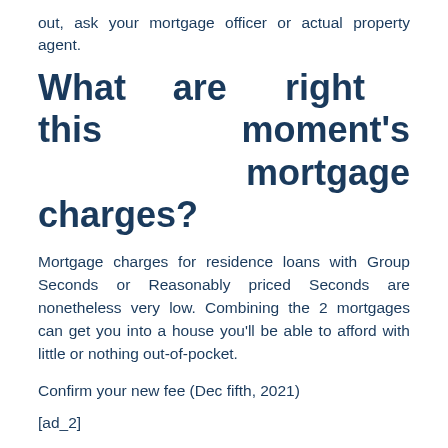out, ask your mortgage officer or actual property agent.
What are right this moment's mortgage charges?
Mortgage charges for residence loans with Group Seconds or Reasonably priced Seconds are nonetheless very low. Combining the 2 mortgages can get you into a house you'll be able to afford with little or nothing out-of-pocket.
Confirm your new fee (Dec fifth, 2021)
[ad_2]
Supply hyperlink